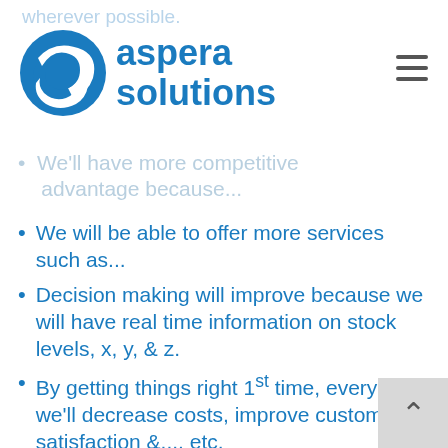aspera solutions
wherever possible.
We'll have more competitive advantage because...
We will be able to offer more services such as...
Decision making will improve because we will have real time information on stock levels, x, y, & z.
By getting things right 1st time, every time, we'll decrease costs, improve customer satisfaction &.... etc.
An integrated business system w... provide us with new operational